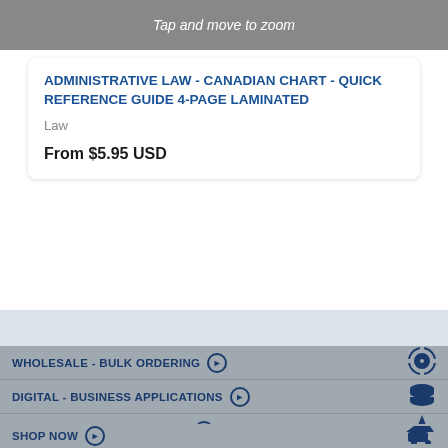[Figure (screenshot): Product image thumbnail with 'Tap and move to zoom' overlay text on gray background]
ADMINISTRATIVE LAW - CANADIAN CHART - QUICK REFERENCE GUIDE 4-PAGE LAMINATED
Law
From $5.95 USD
WHOLESALE - BULK ORDERING
DIGITAL - BUSINESS APPLICATIONS
CUSTOMIZED PERMACHARTS
SHOP NOW